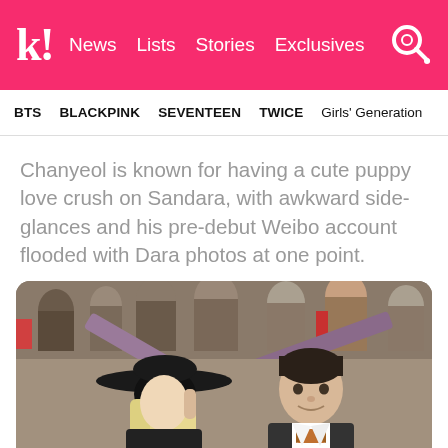k! News  Lists  Stories  Exclusives
BTS  BLACKPINK  SEVENTEEN  TWICE  Girls' Generation
Chanyeol is known for having a cute puppy love crush on Sandara, with awkward side-glances and his pre-debut Weibo account flooded with Dara photos at one point.
[Figure (photo): Photo of a woman with blonde hair wearing a black wide-brim hat (Sandara/Dara) and a man in a dark suit with a bow tie (Chanyeol), at what appears to be an awards ceremony or event, with a crowd visible in the background.]